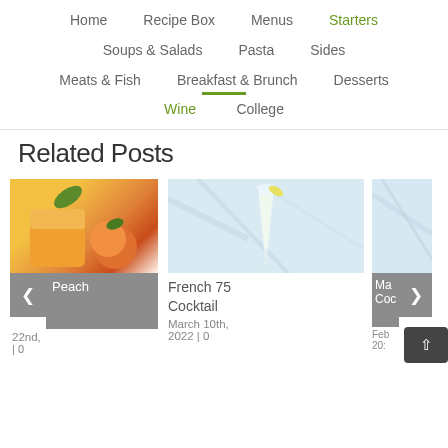Home | Recipe Box | Menus | Starters
Soups & Salads | Pasta | Sides
Meats & Fish | Breakfast & Brunch | Desserts
Wine | College
Related Posts
[Figure (photo): Peach cocktail drink with fresh peach and green leaf garnish]
on Peach
22nd, | 0
[Figure (photo): French 75 cocktail in a champagne flute on marble surface]
French 75 Cocktail
March 10th, 2022 | 0
[Figure (photo): Partially visible cocktail image on marble surface]
Ma Coc
Feb 20, ...